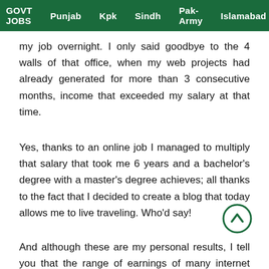GOVT JOBS  Punjab  Kpk  Sindh  Pak-Army  Islamabad
my job overnight. I only said goodbye to the 4 walls of that office, when my web projects had already generated for more than 3 consecutive months, income that exceeded my salary at that time.
Yes, thanks to an online job I managed to multiply that salary that took me 6 years and a bachelor's degree with a master's degree achieves; all thanks to the fact that I decided to create a blog that today allows me to live traveling. Who'd say!
And although these are my personal results, I tell you that the range of earnings of many internet jobs can go from